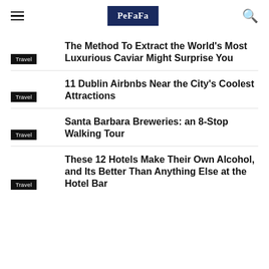PeFaFa
The Method To Extract the World's Most Luxurious Caviar Might Surprise You
11 Dublin Airbnbs Near the City's Coolest Attractions
Santa Barbara Breweries: an 8-Stop Walking Tour
These 12 Hotels Make Their Own Alcohol, and Its Better Than Anything Else at the Hotel Bar